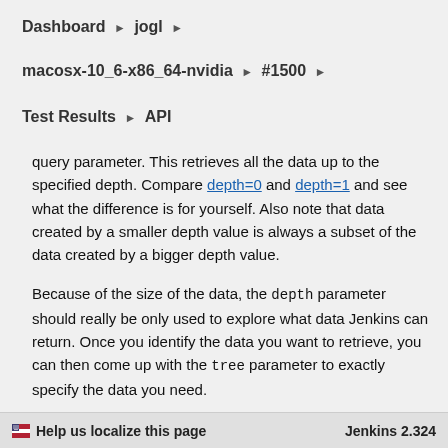Dashboard ▶ jogl ▶
macosx-10_6-x86_64-nvidia ▶ #1500 ▶
Test Results ▶ API
query parameter. This retrieves all the data up to the specified depth. Compare depth=0 and depth=1 and see what the difference is for yourself. Also note that data created by a smaller depth value is always a subset of the data created by a bigger depth value.
Because of the size of the data, the depth parameter should really be only used to explore what data Jenkins can return. Once you identify the data you want to retrieve, you can then come up with the tree parameter to exactly specify the data you need.
🏳 Help us localize this page   Jenkins 2.324